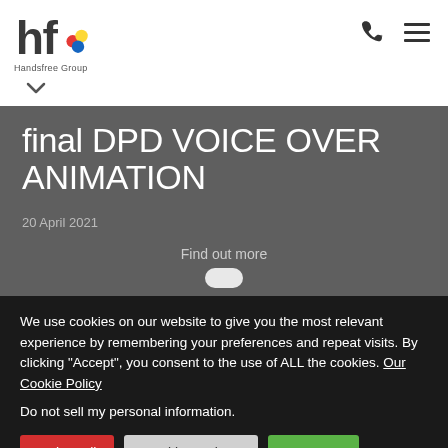Handsfree Group
final DPD VOICE OVER ANIMATION
20 April 2021
Find out more
We use cookies on our website to give you the most relevant experience by remembering your preferences and repeat visits. By clicking “Accept”, you consent to the use of ALL the cookies. Our Cookie Policy
Do not sell my personal information.
Reject All | Cookie Settings | Accept